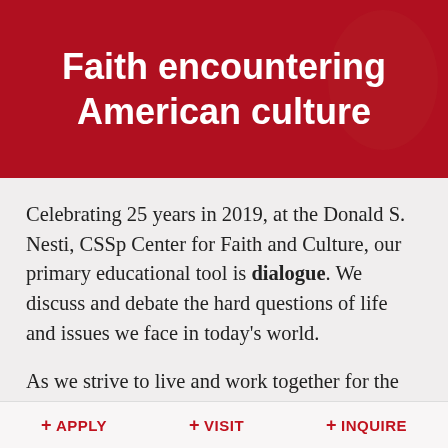Faith encountering American culture
Celebrating 25 years in 2019, at the Donald S. Nesti, CSSp Center for Faith and Culture, our primary educational tool is dialogue. We discuss and debate the hard questions of life and issues we face in today's world.
As we strive to live and work together for the common good in society, we bring the
+ APPLY  + VISIT  + INQUIRE